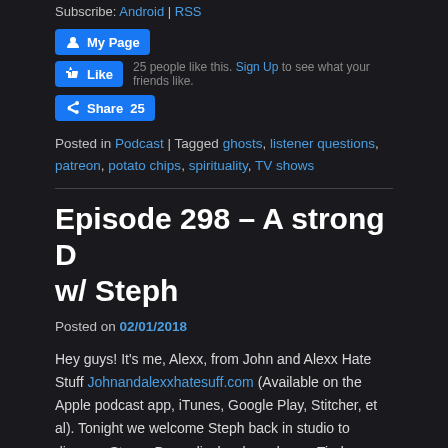Subscribe: Android | RSS
[Figure (screenshot): Facebook social buttons: My Page button, Like button with faded like count and Sign Up link, Share button with count 25]
Posted in Podcast | Tagged ghosts, listener questions, patreon, potato chips, spirituality, TV shows
Episode 298 – A strong D w/ Steph
Posted on 02/01/2018
Hey guys! It's me, Alexx, from John and Alexx Hate Stuff Johnandalexxhatesuff.com (Available on the Apple podcast app, iTunes, Google Play, Stitcher, et al). Tonight we welcome Steph back in studio to discuss: Strong D; medical awkwardness; Tinder wanting us to fuck dogs; and much more! Enjoy!